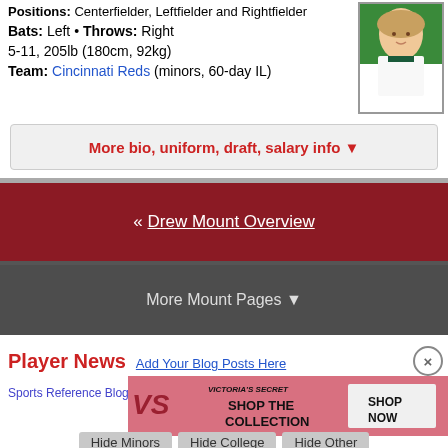Positions: Centerfielder, Leftfielder and Rightfielder
Bats: Left • Throws: Right
5-11, 205lb (180cm, 92kg)
Team: Cincinnati Reds (minors, 60-day IL)
More bio, uniform, draft, salary info ▼
« Drew Mount Overview
More Mount Pages ▼
Player News
Add Your Blog Posts Here
Sports Reference Blog - Get site news and learn about new and existing features
[Figure (photo): Advertisement - Victoria's Secret Shop The Collection Shop Now]
Hide Minors  Hide College  Hide Other